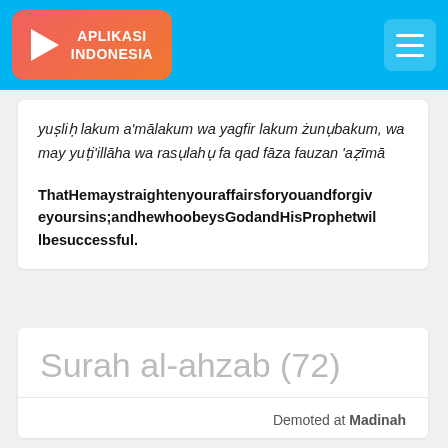APLIKASI INDONESIA
yuṣliḥ lakum a'mālakum wa yagfir lakum żunụbakum, wa may yuṭi'illāha wa rasụlahụ fa qad fāza fauzan 'aẓīmā
ThatHemaystraightenyouraffairsforyouandforgive yoursins;andhewhoobeysGodandHisProphetwillbesuccessful.
Surah al-ahzab (72)
Demoted at Madinah